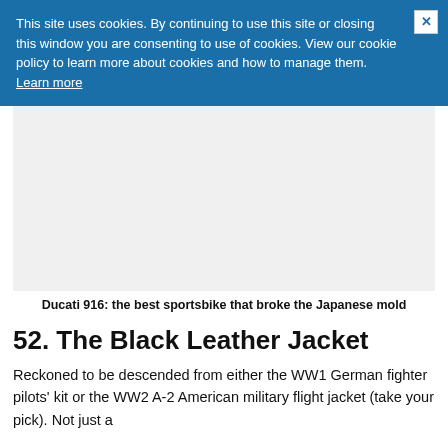This site uses cookies. By continuing to use this site or closing this window you are consenting to use of cookies. View our cookie policy to learn more about cookies and how to manage them. Learn more
[Figure (photo): Blank/placeholder image area for Ducati 916 motorcycle photo]
Ducati 916: the best sportsbike that broke the Japanese mold
52. The Black Leather Jacket
Reckoned to be descended from either the WW1 German fighter pilots' kit or the WW2 A-2 American military flight jacket (take your pick). Not just a